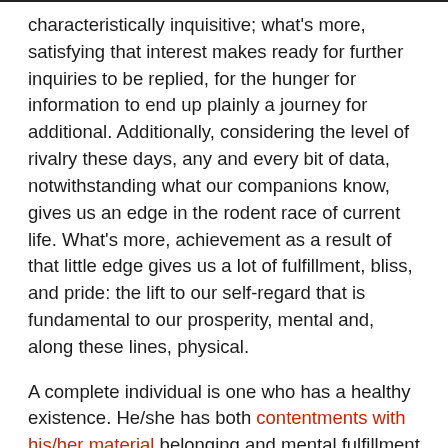characteristically inquisitive; what's more, satisfying that interest makes ready for further inquiries to be replied, for the hunger for information to end up plainly a journey for additional. Additionally, considering the level of rivalry these days, any and every bit of data, notwithstanding what our companions know, gives us an edge in the rodent race of current life. What's more, achievement as a result of that little edge gives us a lot of fulfillment, bliss, and pride: the lift to our self-regard that is fundamental to our prosperity, mental and, along these lines, physical.
A complete individual is one who has a healthy existence. He/she has both contentments with his/her material belonging and mental fulfillment in his/her present place in life. The whole individual, thus, is one who has found a harmony between the physical and insignificant universes: one who has both access to assets and the way to appreciate them; somebody who has both satisfactory